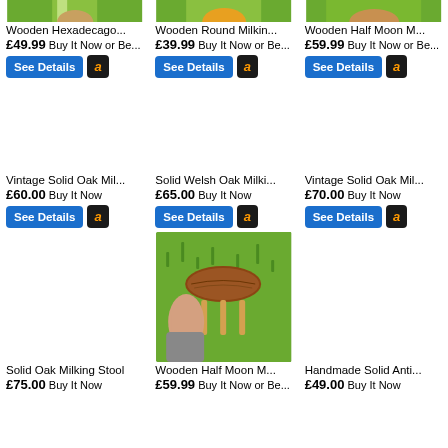[Figure (photo): Top portion of a wooden stool product photo on grass background - item 1]
Wooden Hexadecago...
£49.99 Buy It Now or Be...
[Figure (photo): Top portion of wooden round milking stool on grass - item 2]
Wooden Round Milkin...
£39.99 Buy It Now or Be...
[Figure (photo): Top portion of wooden half moon milking stool - item 3]
Wooden Half Moon M...
£59.99 Buy It Now or Be...
Vintage Solid Oak Mil...
£60.00 Buy It Now
Solid Welsh Oak Milki...
£65.00 Buy It Now
Vintage Solid Oak Mil...
£70.00 Buy It Now
[Figure (photo): Person holding a wooden half moon milking stool over green grass]
Solid Oak Milking Stool
£75.00 Buy It Now
Wooden Half Moon M...
£59.99 Buy It Now or Be...
Handmade Solid Anti...
£49.00 Buy It Now